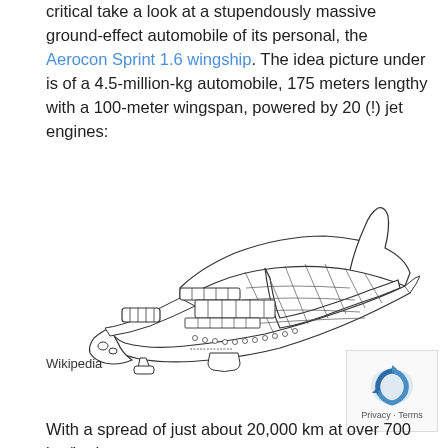critical take a look at a stupendously massive ground-effect automobile of its personal, the Aerocon Sprint 1.6 wingship. The idea picture under is of a 4.5-million-kg automobile, 175 meters lengthy with a 100-meter wingspan, powered by 20 (!) jet engines:
[Figure (illustration): Line drawing/sketch of the Aerocon Sprint 1.6 wingship, a massive ground-effect aircraft with wide wings, multiple jet engines on the left side, landing gear, and a pointed nose, shown in a three-quarter perspective view.]
Wikipedia
With a spread of just about 20,000 km at over 700 km/h, the